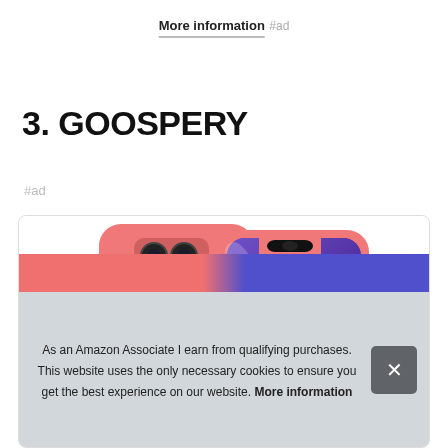More information #ad
3. GOOSPERY
#ad
[Figure (photo): Product photo of coral/pink phone cases showing front and back, with camera cutout visible on the back case and a purple screen on the front-facing case.]
As an Amazon Associate I earn from qualifying purchases. This website uses the only necessary cookies to ensure you get the best experience on our website. More information